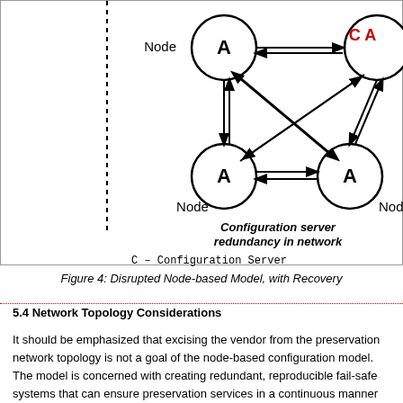[Figure (network-graph): Network diagram showing configuration server redundancy in network. Three nodes labeled A (Redundant Configuration Data) are connected to each other with bidirectional arrows forming a mesh. A configuration server node labeled C A is partially visible at top right. A vertical dotted line divides the diagram on the left side. Below the network diagram, italic text reads 'Configuration server redundancy in network'. At the bottom of the box: 'C – Configuration Server' and 'A – Redundant Configuration Data'.]
Figure 4: Disrupted Node-based Model, with Recovery
5.4 Network Topology Considerations
It should be emphasized that excising the vendor from the preservation network topology is not a goal of the node-based configuration model. The model is concerned with creating redundant, reproducible fail-safe systems that can ensure preservation services in a continuous manner regardless of events.